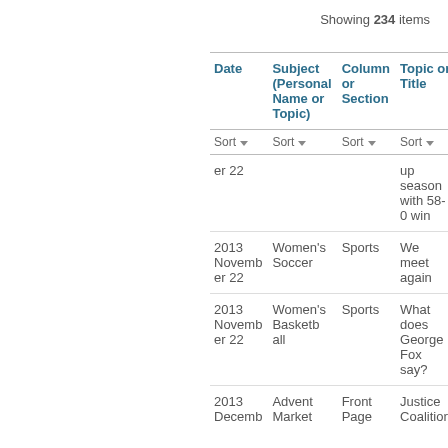Showing 234 items
| Date | Subject (Personal Name or Topic) | Column or Section | Topic or Title |
| --- | --- | --- | --- |
| er 22 |  |  | up season with 58-0 win |
| 2013 November 22 | Women's Soccer | Sports | We meet again |
| 2013 November 22 | Women's Basketball | Sports | What does George Fox say? |
| 2013 December | Advent Market | Front Page | Justice Coalition |